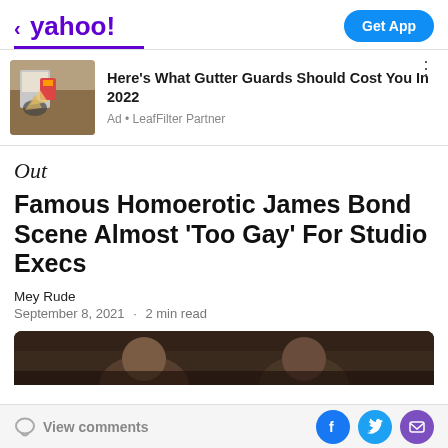< yahoo!  Get App
[Figure (photo): Advertisement thumbnail: hands cleaning a gutter with a cup and debris visible]
Here's What Gutter Guards Should Cost You In 2022
Ad • LeafFilter Partner
Out
Famous Homoerotic James Bond Scene Almost 'Too Gay' For Studio Execs
Mey Rude
September 8, 2021  ·  2 min read
[Figure (photo): Partial view of two people, dark cinematic still from a James Bond film]
View comments  [Facebook] [Twitter] [Email]